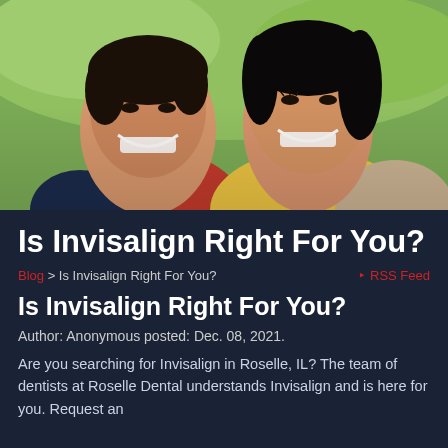[Figure (photo): Two smiling Asian adults, a man on the left wearing a red shirt and a woman on the right wearing a yellow top, posed closely together outdoors with greenery in the background.]
Is Invisalign Right For You?
Blog > Is Invisalign Right For You?    RSS Feed
Is Invisalign Right For You?
Author: Anonymous posted: Dec. 08, 2021.
Are you searching for Invisalign in Roselle, IL? The team of dentists at Roselle Dental understands Invisalign and is here for you. Request an